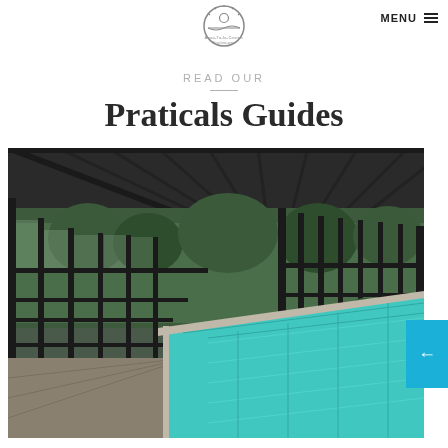[Figure (logo): Aqua To-la-Cosmic Enclosures circular logo with sun/pool graphic]
MENU ≡
READ OUR
Praticals Guides
[Figure (photo): Pool enclosure structure with glass panels and dark metal framing, showing an outdoor swimming pool with turquoise water inside an enclosed sunroom-style structure, with trees visible outside]